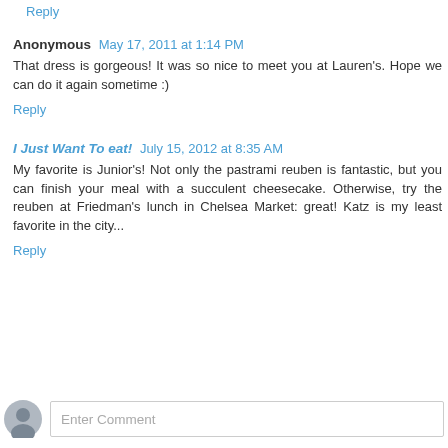Reply
Anonymous  May 17, 2011 at 1:14 PM
That dress is gorgeous! It was so nice to meet you at Lauren's. Hope we can do it again sometime :)
Reply
I Just Want To eat!  July 15, 2012 at 8:35 AM
My favorite is Junior's! Not only the pastrami reuben is fantastic, but you can finish your meal with a succulent cheesecake. Otherwise, try the reuben at Friedman's lunch in Chelsea Market: great! Katz is my least favorite in the city...
Reply
Enter Comment